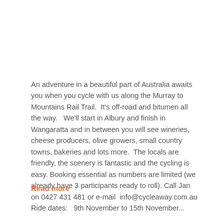An adventure in a beautiful part of Australia awaits you when you cycle with us along the Murray to Mountains Rail Trail.  It's off-road and bitumen all the way.   We'll start in Albury and finish in Wangaratta and in between you will see wineries, cheese producers, olive growers, small country towns, bakeries and lots more.  The locals are friendly, the scenery is fantastic and the cycling is easy. Booking essential as numbers are limited (we already have 3 participants ready to roll). Call Jan on 0427 431 481 or e-mail  info@cycleaway.com.au Ride dates:   9th November to 15th November...
Read more